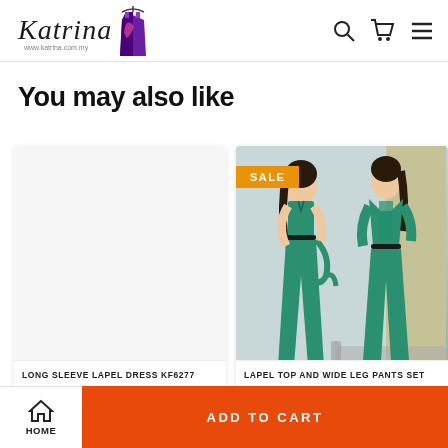Katrina — navigation header with search, cart, and menu icons
You may also like
[Figure (photo): Product card: Long Sleeve Lapel Dress KF6277 — blank/white product image placeholder]
LONG SLEEVE LAPEL DRESS KF6277
[Figure (photo): Product card with SALE badge: two women wearing teal/green lapel top and wide leg pants set, indoor setting with sofa and curtains]
LAPEL TOP AND WIDE LEG PANTS SET
HOME | ADD TO CART